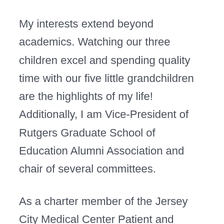My interests extend beyond academics. Watching our three children excel and spending quality time with our five little grandchildren are the highlights of my life! Additionally, I am Vice-President of Rutgers Graduate School of Education Alumni Association and chair of several committees.
As a charter member of the Jersey City Medical Center Patient and Family Advisory Council, I am impressed to have been well-informed of the various departments and accolades of JCMC. I was so proud to have been included in the celebration of the Neonatal Intensive Care Unit's consecutive fifth, sixth, and seventh-year national awards for zero